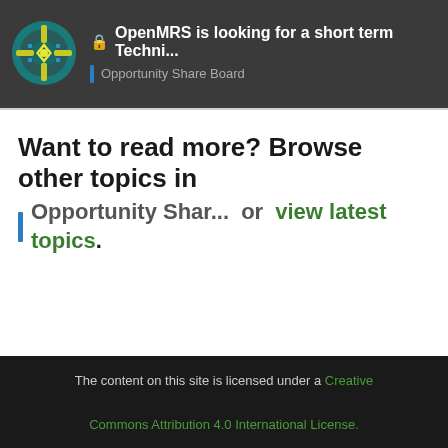🔒 OpenMRS is looking for a short term Techni... | Opportunity Share Board
Want to read more? Browse other topics in Opportunity Shar... or view latest topics.
The content on this site is licensed under a Creative Commons Attribution 4.0 International License.